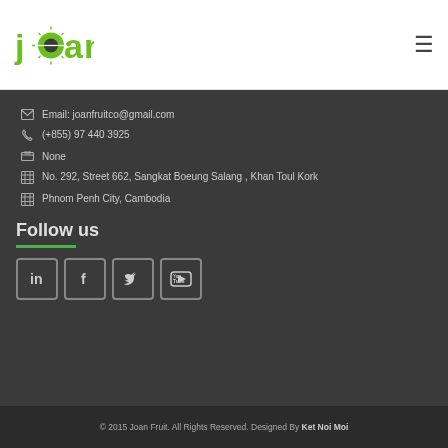[Figure (logo): Joan Fruit company logo - green stylized text 'joan' with a sun/sunburst icon replacing the 'o']
Email: joanfruitco@gmail.com
(+855) 97 440 3925
None
No. 292, Street 662, Sangkat Boeung Salang , Khan Toul Kork
Phnom Penh City, Cambodia
Follow us
[Figure (infographic): Social media icon buttons: LinkedIn, Facebook, Twitter, YouTube - each in a rounded square outline]
© 2015 Joan Fruit. All Rights Reserved. Designed By Ket Noi Moi